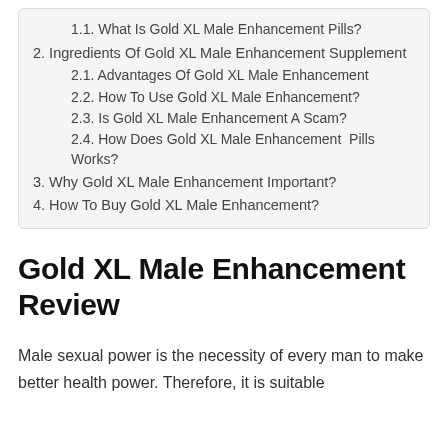1.1. What Is Gold XL Male Enhancement Pills?
2. Ingredients Of Gold XL Male Enhancement Supplement
2.1. Advantages Of Gold XL Male Enhancement
2.2. How To Use Gold XL Male Enhancement?
2.3. Is Gold XL Male Enhancement A Scam?
2.4. How Does Gold XL Male Enhancement  Pills Works?
3. Why Gold XL Male Enhancement Important?
4. How To Buy Gold XL Male Enhancement?
Gold XL Male Enhancement Review
Male sexual power is the necessity of every man to make better health power. Therefore, it is suitable